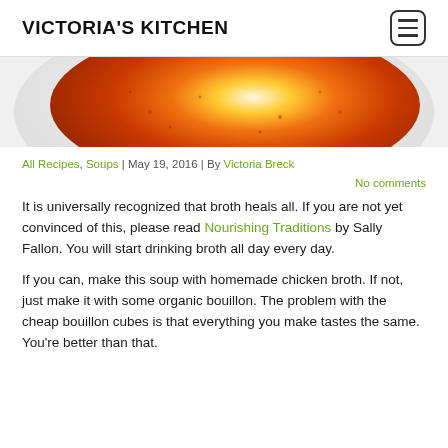VICTORIA'S KITCHEN
[Figure (photo): Close-up of an orange/red tomato soup or sauce in a white bowl, photographed from above with bright light in the center.]
All Recipes, Soups | May 19, 2016 | By Victoria Breck
No comments
It is universally recognized that broth heals all. If you are not yet convinced of this, please read Nourishing Traditions by Sally Fallon. You will start drinking broth all day every day.
If you can, make this soup with homemade chicken broth. If not, just make it with some organic bouillon. The problem with the cheap bouillon cubes is that everything you make tastes the same. You're better than that.